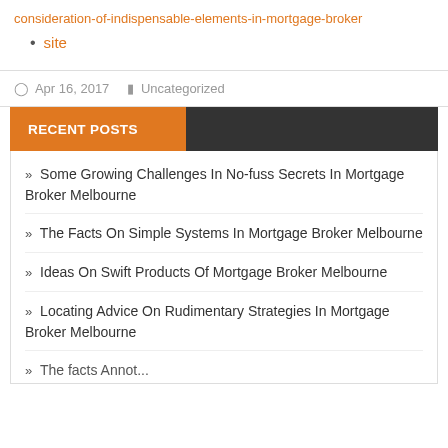consideration-of-indispensable-elements-in-mortgage-broker
site
Apr 16, 2017   Uncategorized
RECENT POSTS
» Some Growing Challenges In No-fuss Secrets In Mortgage Broker Melbourne
» The Facts On Simple Systems In Mortgage Broker Melbourne
» Ideas On Swift Products Of Mortgage Broker Melbourne
» Locating Advice On Rudimentary Strategies In Mortgage Broker Melbourne
» The facts...